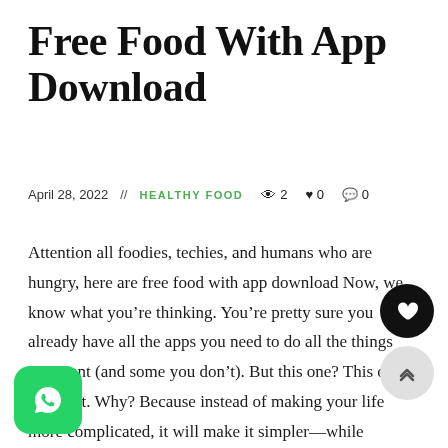Free Food With App Download
April 28, 2022  //  HEALTHY FOOD  👁 2  ♥ 0  💬 0
Attention all foodies, techies, and humans who are hungry, here are free food with app download Now, we know what you're thinking. You're pretty sure you already have all the apps you need to do all the things you want (and some you don't). But this one? This one is different. Why? Because instead of making your life more complicated, it will make it simpler—while simultaneously saving you money and helping out a few causes.